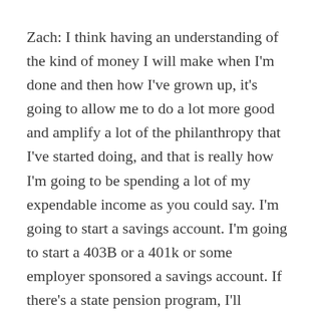Zach: I think having an understanding of the kind of money I will make when I'm done and then how I've grown up, it's going to allow me to do a lot more good and amplify a lot of the philanthropy that I've started doing, and that is really how I'm going to be spending a lot of my expendable income as you could say. I'm going to start a savings account. I'm going to start a 403B or a 401k or some employer sponsored a savings account. If there's a state pension program, I'll participate in that. But it's really going to